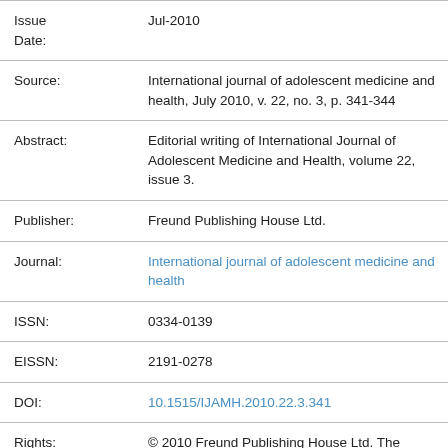| Issue Date: | Jul-2010 |
| Source: | International journal of adolescent medicine and health, July 2010, v. 22, no. 3, p. 341-344 |
| Abstract: | Editorial writing of International Journal of Adolescent Medicine and Health, volume 22, issue 3. |
| Publisher: | Freund Publishing House Ltd. |
| Journal: | International journal of adolescent medicine and health |
| ISSN: | 0334-0139 |
| EISSN: | 2191-0278 |
| DOI: | 10.1515/IJAMH.2010.22.3.341 |
| Rights: | © 2010 Freund Publishing House Ltd. The journal web site is located at http://www.degruyter.com. |